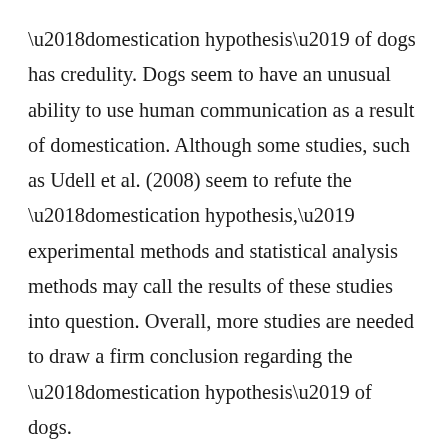‘domestication hypothesis’ of dogs has credulity.  Dogs seem to have an unusual ability to use human communication as a result of domestication.  Although some studies, such as Udell et al. (2008) seem to refute the ‘domestication hypothesis,’ experimental methods and statistical analysis methods may call the results of these studies into question.  Overall, more studies are needed to draw a firm conclusion regarding the ‘domestication hypothesis’ of dogs.